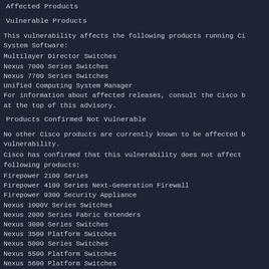Affected Products
Vulnerable Products
This vulnerability affects the following products running Cisco NX-OS System Software:
Multilayer Director Switches
Nexus 7000 Series Switches
Nexus 7700 Series Switches
Unified Computing System Manager
For information about affected releases, consult the Cisco bug ID at the top of this advisory.
Products Confirmed Not Vulnerable
No other Cisco products are currently known to be affected by this vulnerability.
Cisco has confirmed that this vulnerability does not affect the following products:
Firepower 2100 Series
Firepower 4100 Series Next-Generation Firewall
Firepower 9300 Security Appliance
Nexus 1000V Series Switches
Nexus 2000 Series Fabric Extenders
Nexus 3000 Series Switches
Nexus 3500 Platform Switches
Nexus 5000 Series Switches
Nexus 5500 Platform Switches
Nexus 5600 Platform Switches
Nexus 6000 Series Switches
Nexus 9000 Series Fabric Switches in Application Centric Infrastructure (ACI) mode
Nexus 9000 Series Switches in standalone NX-OS mode